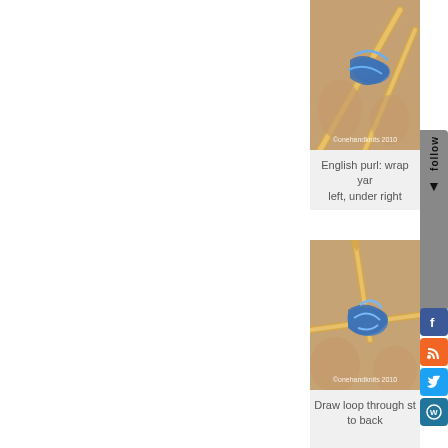[Figure (photo): Close-up photo of hands knitting with blue yarn on bamboo needles, showing the English purl wrap technique. Watermark: ©onehandknits 2010]
English purl: wrap yarn left, under right
[Figure (photo): Close-up photo of hands knitting with blue yarn on bamboo needles, showing the loop being drawn through the stitch to the back. Watermark: ©onehandknits 2010]
Draw loop through st to back